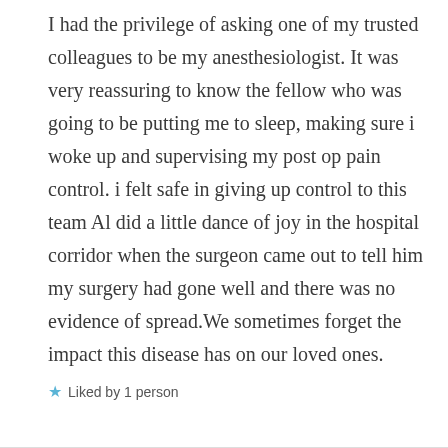I had the privilege of asking one of my trusted colleagues to be my anesthesiologist. It was very reassuring to know the fellow who was going to be putting me to sleep, making sure i woke up and supervising my post op pain control. i felt safe in giving up control to this team Al did a little dance of joy in the hospital corridor when the surgeon came out to tell him my surgery had gone well and there was no evidence of spread.We sometimes forget the impact this disease has on our loved ones.
Liked by 1 person